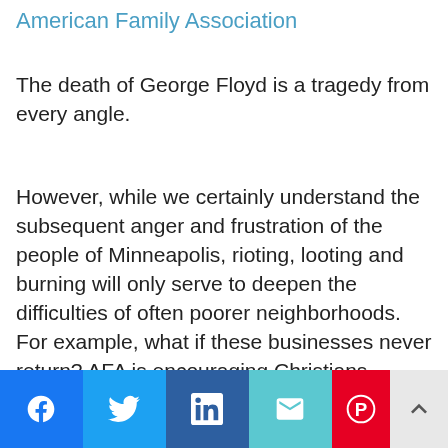American Family Association
The death of George Floyd is a tragedy from every angle.
However, while we certainly understand the subsequent anger and frustration of the people of Minneapolis, rioting, looting and burning will only serve to deepen the difficulties of often poorer neighborhoods. For example, what if these businesses never return? AFA is encouraging Christians across the nation to be praying for this city in turmoil and to do all they can to help it recover when the chaos ends.